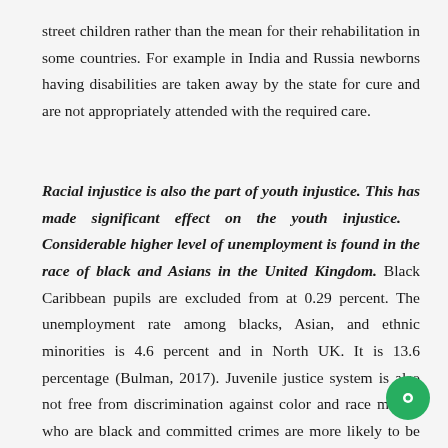street children rather than the mean for their rehabilitation in some countries. For example in India and Russia newborns having disabilities are taken away by the state for cure and are not appropriately attended with the required care.
Racial injustice is also the part of youth injustice. This has made significant effect on the youth injustice. Considerable higher level of unemployment is found in the race of black and Asians in the United Kingdom. Black Caribbean pupils are excluded from at 0.29 percent. The unemployment rate among blacks, Asian, and ethnic minorities is 4.6 percent and in North UK. It is 13.6 percentage (Bulman, 2017). Juvenile justice system is also not free from discrimination against color and race minors who are black and committed crimes are more likely to be put through trail in adult court instead of juvenile court. While for the same offence white children have been reported to be through juvenile court. According to human rights watch the